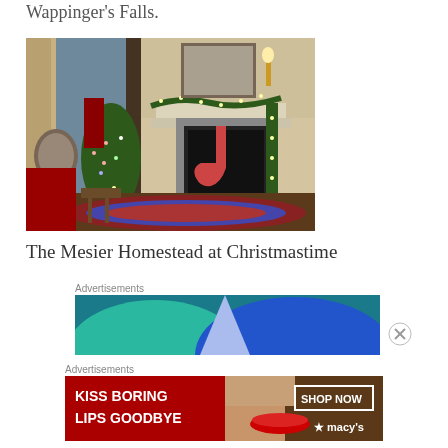Wappinger's Falls.
[Figure (photo): Interior room of the Mesier Homestead decorated for Christmas, featuring a fireplace with garland and lights, a decorated Christmas tree, patterned rugs, and framed artwork on the walls.]
The Mesier Homestead at Christmastime
Advertisements
[Figure (photo): Advertisement banner with teal and blue geometric design, partially visible.]
Advertisements
[Figure (photo): Macy's advertisement showing a woman's face with red lips and text reading KISS BORING LIPS GOODBYE with SHOP NOW button and Macy's star logo.]